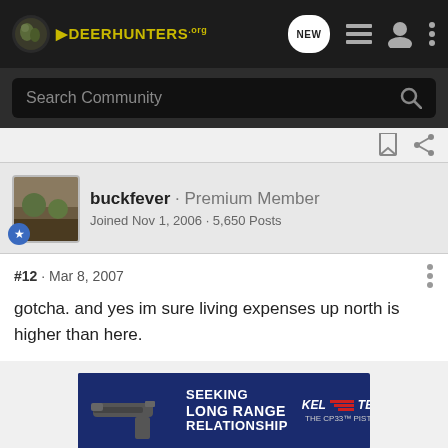DeerHunters.org — navigation bar with logo, NEW button, list icon, user icon, more icon
Search Community
buckfever · Premium Member
Joined Nov 1, 2006 · 5,650 Posts
#12 · Mar 8, 2007
gotcha. and yes im sure living expenses up north is higher than here.
[Figure (screenshot): Advertisement banner: SEEKING LONG RANGE RELATIONSHIP — KEL-TEC THE CP33 PISTOL, dark blue background with pistol image]